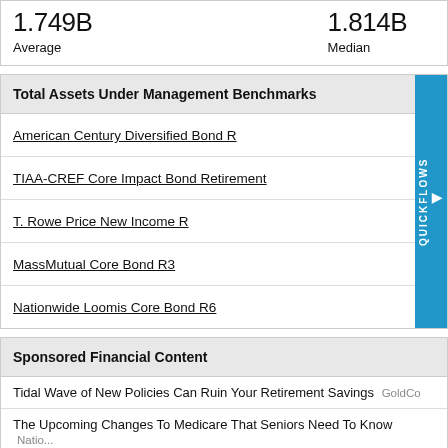1.749B Average   1.814B Median
Total Assets Under Management Benchmarks
American Century Diversified Bond R
TIAA-CREF Core Impact Bond Retirement
T. Rowe Price New Income R
MassMutual Core Bond R3
Nationwide Loomis Core Bond R6
Sponsored Financial Content
Tidal Wave of New Policies Can Ruin Your Retirement Savings GoldCo
The Upcoming Changes To Medicare That Seniors Need To Know Natio...